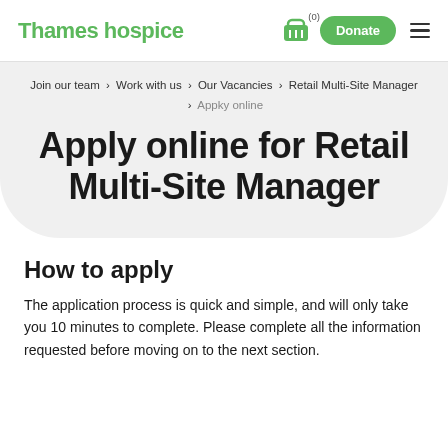Thames Hospice
Join our team > Work with us > Our Vacancies > Retail Multi-Site Manager > Appky online
Apply online for Retail Multi-Site Manager
How to apply
The application process is quick and simple, and will only take you 10 minutes to complete. Please complete all the information requested before moving on to the next section.